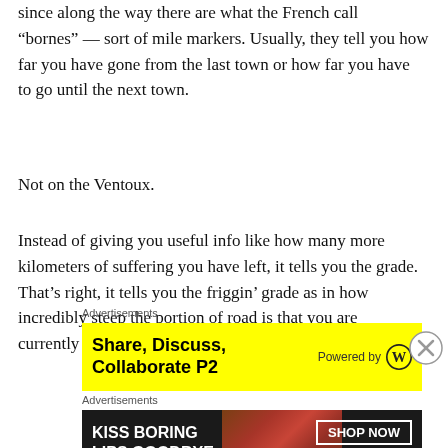since along the way there are what the French call “bornes” — sort of mile markers. Usually, they tell you how far you have gone from the last town or how far you have to go until the next town.
Not on the Ventoux.
Instead of giving you useful info like how many more kilometers of suffering you have left, it tells you the grade. That’s right, it tells you the friggin’ grade as in how incredibly steep the portion of road is that you are currently on.
Advertisements
[Figure (other): Yellow advertisement banner: Share, Discuss, Collaborate P2 - Powered by WordPress logo]
Advertisements
[Figure (other): Macy's advertisement banner: Kiss Boring Lips Goodbye - Shop Now button with Macy's star logo, featuring a woman's face with red lips]